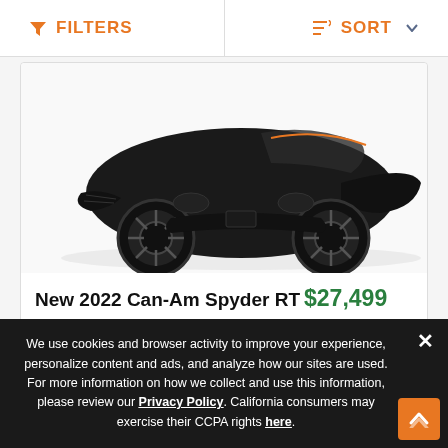FILTERS | SORT
[Figure (photo): Black 2022 Can-Am Spyder RT three-wheeled motorcycle, front three-quarter view on white background]
New 2022 Can-Am Spyder RT
$27,499
Color   BLK
We use cookies and browser activity to improve your experience, personalize content and ads, and analyze how our sites are used. For more information on how we collect and use this information, please review our Privacy Policy. California consumers may exercise their CCPA rights here.